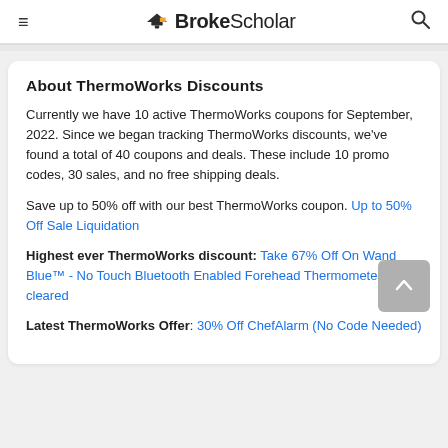BrokeScholar
About ThermoWorks Discounts
Currently we have 10 active ThermoWorks coupons for September, 2022. Since we began tracking ThermoWorks discounts, we've found a total of 40 coupons and deals. These include 10 promo codes, 30 sales, and no free shipping deals.
Save up to 50% off with our best ThermoWorks coupon. Up to 50% Off Sale Liquidation
Highest ever ThermoWorks discount: Take 67% Off On Wand Blue™ - No Touch Bluetooth Enabled Forehead Thermometer Fda-cleared
Latest ThermoWorks Offer: 30% Off ChefAlarm (No Code Needed)